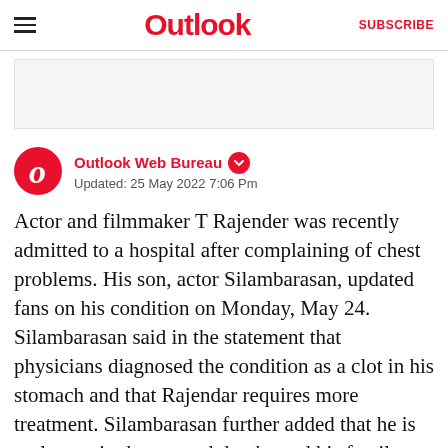Outlook  SUBSCRIBE
[Figure (other): Advertisement placeholder area, light gray background]
Outlook Web Bureau  Updated: 25 May 2022 7:06 Pm
Actor and filmmaker T Rajender was recently admitted to a hospital after complaining of chest problems. His son, actor Silambarasan, updated fans on his condition on Monday, May 24. Silambarasan said in the statement that physicians diagnosed the condition as a clot in his stomach and that Rajendar requires more treatment. Silambarasan further added that he is no longer in danger and that he and his family would be travelling out of the country for